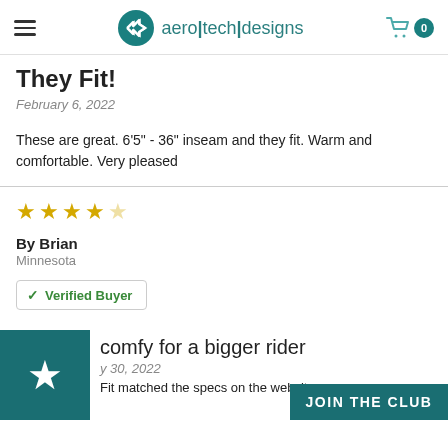aero|tech|designs
They Fit!
February 6, 2022
These are great. 6'5" - 36" inseam and they fit. Warm and comfortable. Very pleased
[Figure (other): 4-star rating (4 filled stars, 1 empty star)]
By Brian
Minnesota
✓ Verified Buyer
comfy for a bigger rider
y 30, 2022
Fit matched the specs on the website.